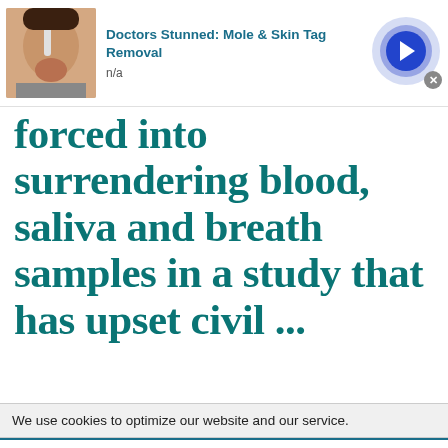[Figure (infographic): Ad card with thumbnail photo of person using facial brush/shaver, title 'Doctors Stunned: Mole & Skin Tag Removal', source 'n/a', and blue arrow button with close X]
forced into surrendering blood, saliva and breath samples in a study that has upset civil ...
We use cookies to optimize our website and our service.
[Figure (infographic): Ad card with thumbnail photo of older man, title '3 Steps to Tell a Slot Might Be Close to', source 'n/a', and blue arrow button with close X]